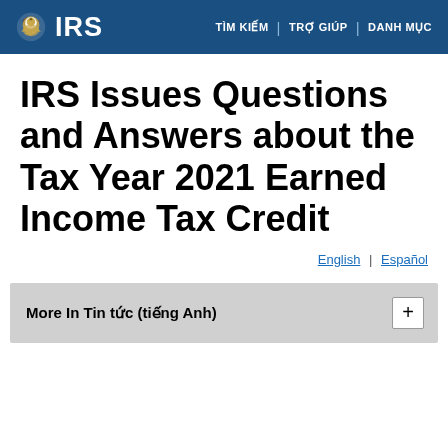IRS | TÌM KIẾM | TRỢ GIÚP | DANH MỤC
IRS Issues Questions and Answers about the Tax Year 2021 Earned Income Tax Credit
English | Español
More In Tin tức (tiếng Anh)